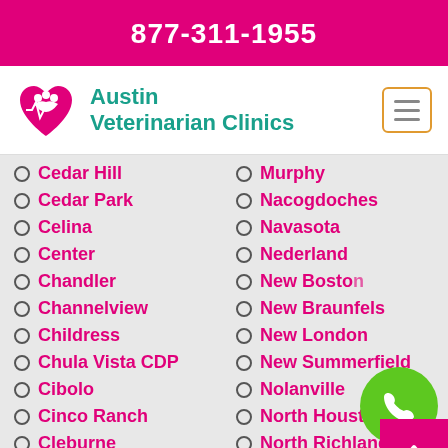877-311-1955
[Figure (logo): Austin Veterinarian Clinics logo with heart and paw icon]
Cedar Hill
Cedar Park
Celina
Center
Chandler
Channelview
Childress
Chula Vista CDP
Cibolo
Cinco Ranch
Cleburne
Cleveland
Murphy
Nacogdoches
Navasota
Nederland
New Boston
New Braunfels
New London
New Summerfield
Nolanville
North Houston
North Richland Hills
Odessa